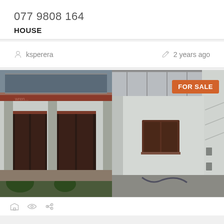077 9808 164
HOUSE
ksperera
2 years ago
[Figure (photo): Two side-by-side photos of a house for sale. Left image shows the front entrance of a single-story house with dark red/maroon columns, doors, and trimming on a white building with green bushes in front. Right image shows the side of the same or similar white house with a brown window and overhead transparent roof structure, with a 'FOR SALE' orange badge in the top right corner.]